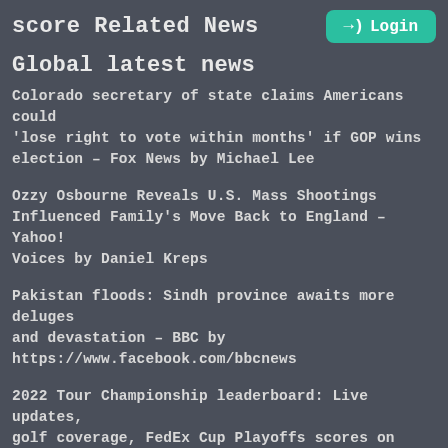score Related News  →) Login
Global latest news
Colorado secretary of state claims Americans could 'lose right to vote within months' if GOP wins election – Fox News by Michael Lee
Ozzy Osbourne Reveals U.S. Mass Shootings Influenced Family's Move Back to England – Yahoo! Voices by Daniel Kreps
Pakistan floods: Sindh province awaits more deluges and devastation – BBC by https://www.facebook.com/bbcnews
2022 Tour Championship leaderboard: Live updates, golf coverage, FedEx Cup Playoffs scores on Sunday – CBS Sports by Patrick McDonald
Republicans Still Prevent...